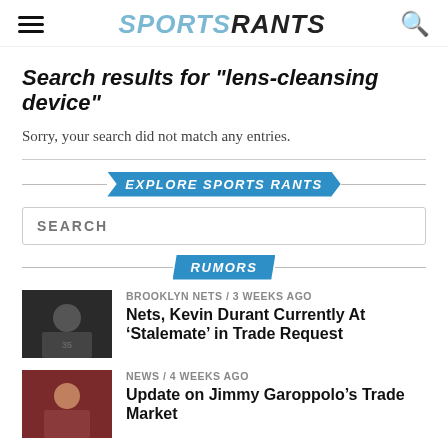Sports Rants
Search results for "lens-cleansing device"
Sorry, your search did not match any entries.
EXPLORE SPORTS RANTS
SEARCH
RUMORS
BROOKLYN NETS / 3 weeks ago
Nets, Kevin Durant Currently At ‘Stalemate’ in Trade Request
NEWS / 4 weeks ago
Update on Jimmy Garoppolo’s Trade Market